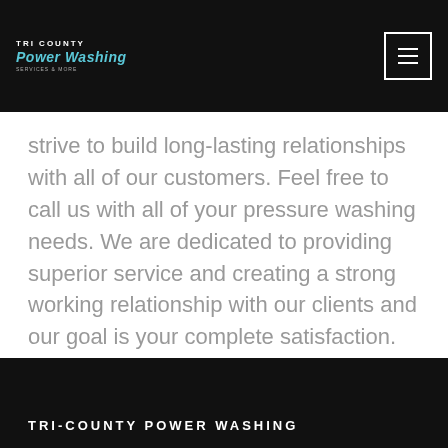TRI COUNTY Power Washing
strive to build long-lasting relationships with all of our customers. Feel free to call us with all of your pressure washing needs. We are dedicated to providing superior service and creating a strong working relationship with our clients and our goal is your complete satisfaction.
TRI-COUNTY POWER WASHING